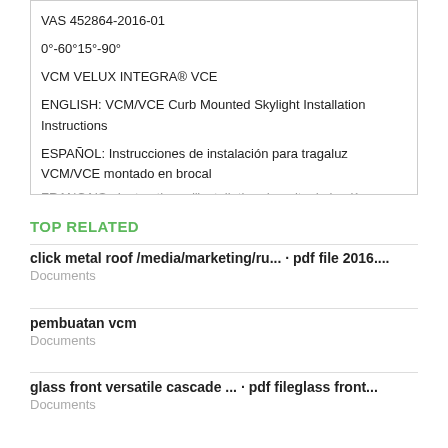VAS 452864-2016-01
0°-60°15°-90°
VCM VELUX INTEGRA® VCE
ENGLISH: VCM/VCE Curb Mounted Skylight Installation Instructions
ESPAÑOL: Instrucciones de instalación para tragaluz VCM/VCE montado en brocal
FRANÇAIS : Instructions d'installation du puits de lumière
TOP RELATED
click metal roof /media/marketing/ru... · pdf file 2016....
Documents
pembuatan vcm
Documents
glass front versatile cascade ... · pdf fileglass front...
Documents